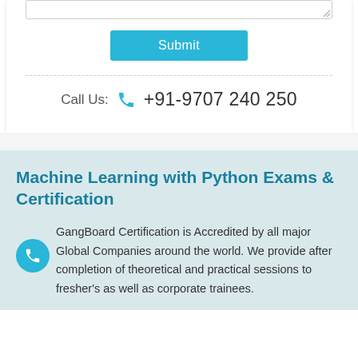[Figure (screenshot): Textarea input field with resize handle and Submit button in a white form card]
Call Us:  +91-9707 240 250
Machine Learning with Python Exams & Certification
GangBoard Certification is Accredited by all major Global Companies around the world. We provide after completion of theoretical and practical sessions to fresher's as well as corporate trainees.